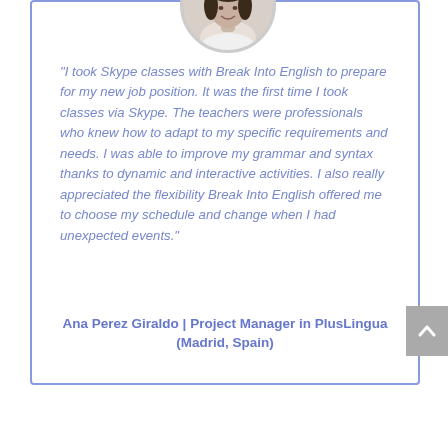[Figure (photo): Circular portrait photo of Ana Perez Giraldo, a woman with dark hair]
“I took Skype classes with Break Into English to prepare for my new job position. It was the first time I took classes via Skype. The teachers were professionals who knew how to adapt to my specific requirements and needs. I was able to improve my grammar and syntax thanks to dynamic and interactive activities. I also really appreciated the flexibility Break Into English offered me to choose my schedule and change when I had unexpected events.”
Ana Perez Giraldo | Project Manager in PlusLingua (Madrid, Spain)